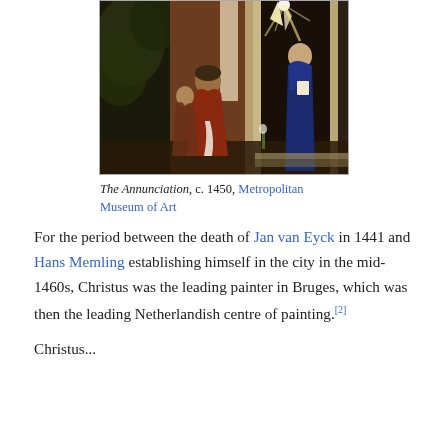[Figure (illustration): The Annunciation painting circa 1450, showing a kneeling figure and a standing figure in blue robe at a doorway with bright light]
The Annunciation, c. 1450, Metropolitan Museum of Art
For the period between the death of Jan van Eyck in 1441 and Hans Memling establishing himself in the city in the mid-1460s, Christus was the leading painter in Bruges, which was then the leading Netherlandish centre of painting.[2]
Christus...